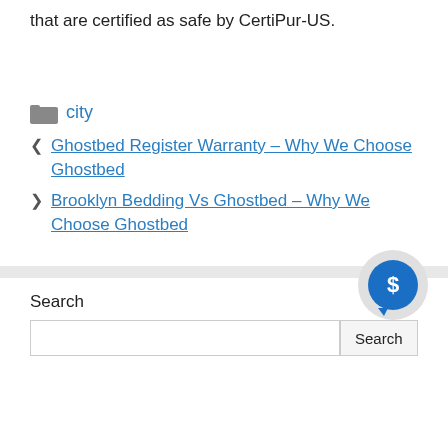that are certified as safe by CertiPur-US.
city
Ghostbed Register Warranty – Why We Choose Ghostbed
Brooklyn Bedding Vs Ghostbed – Why We Choose Ghostbed
Search
Search